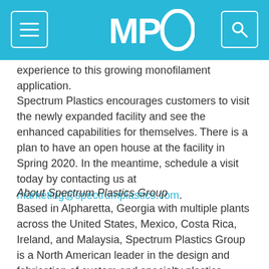[Figure (logo): MPO website header with hamburger menu icon on left, MPO logo in center on cyan background, search icon on right]
experience to this growing monofilament application.
Spectrum Plastics encourages customers to visit the newly expanded facility and see the enhanced capabilities for themselves. There is a plan to have an open house at the facility in Spring 2020. In the meantime, schedule a visit today by contacting us at marketing@spectrumplastics.com.
About Spectrum Plastics Group
Based in Alpharetta, Georgia with multiple plants across the United States, Mexico, Costa Rica, Ireland, and Malaysia, Spectrum Plastics Group is a North American leader in the design and fabrication of custom and specialty plastics products focusing on niche, high value-added end markets, including medical, food, and defense applications.  Spectrum Plastics offers a full range of